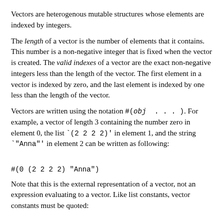Vectors are heterogenous mutable structures whose elements are indexed by integers.
The length of a vector is the number of elements that it contains. This number is a non-negative integer that is fixed when the vector is created. The valid indexes of a vector are the exact non-negative integers less than the length of the vector. The first element in a vector is indexed by zero, and the last element is indexed by one less than the length of the vector.
Vectors are written using the notation #(obj ...). For example, a vector of length 3 containing the number zero in element 0, the list `(2 2 2 2)' in element 1, and the string `"Anna"' in element 2 can be written as following:
Note that this is the external representation of a vector, not an expression evaluating to a vector. Like list constants, vector constants must be quoted: